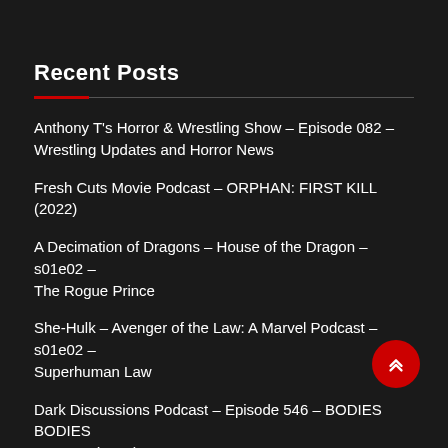Recent Posts
Anthony T's Horror & Wrestling Show – Episode 082 – Wrestling Updates and Horror News
Fresh Cuts Movie Podcast – ORPHAN: FIRST KILL (2022)
A Decimation of Dragons – House of the Dragon – s01e02 – The Rogue Prince
She-Hulk – Avenger of the Law: A Marvel Podcast – s01e02 – Superhuman Law
Dark Discussions Podcast – Episode 546 – BODIES BODIES BODIES (2022)
A Decimation of Dragons – House of the Dragon – s01e01 –